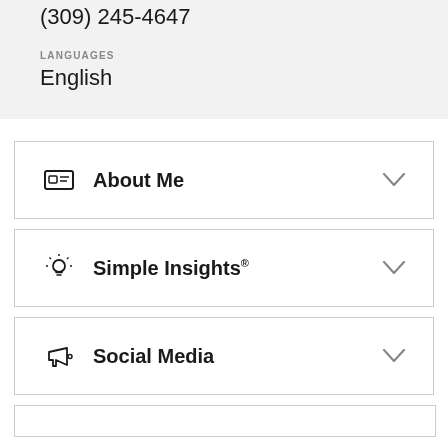(309) 245-4647
LANGUAGES
English
About Me
Simple Insights®
Social Media